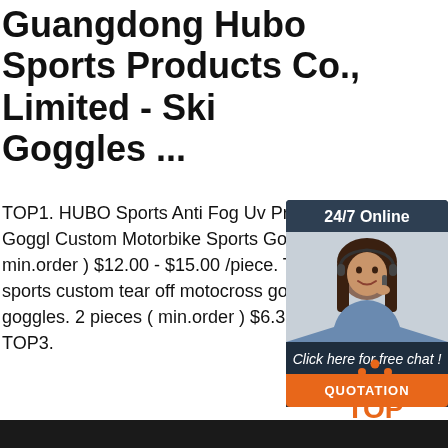Guangdong Hubo Sports Products Co., Limited - Ski Goggles ...
TOP1. HUBO Sports Anti Fog Uv Protecti Goggl Custom Motorbike Sports Goggles ( min.order ) $12.00 - $15.00 /piece. TOP sports custom tear off motocross goggles goggles. 2 pieces ( min.order ) $6.33 - $7 TOP3.
[Figure (illustration): Chat widget with 24/7 Online header, photo of woman with headset, 'Click here for free chat!' text, and orange QUOTATION button]
Get Price
[Figure (logo): TOP logo with orange diamond/arrow dots above text]